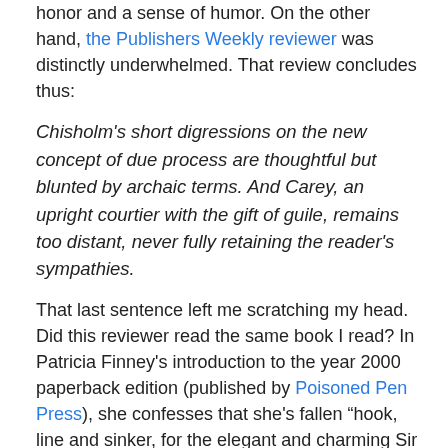honor and a sense of humor. On the other hand, the Publishers Weekly reviewer was distinctly underwhelmed. That review concludes thus:
Chisholm's short digressions on the new concept of due process are thoughtful but blunted by archaic terms. And Carey, an upright courtier with the gift of guile, remains too distant, never fully retaining the reader's sympathies.
That last sentence left me scratching my head. Did this reviewer read the same book I read? In Patricia Finney's introduction to the year 2000 paperback edition (published by Poisoned Pen Press), she confesses that she's fallen “hook, line and sinker, for the elegant and charming Sir Robert Carey.” I felt the same way.
[Figure (photo): Partial view of a historical portrait painting showing a figure with a light-colored ruff collar against a dark background]